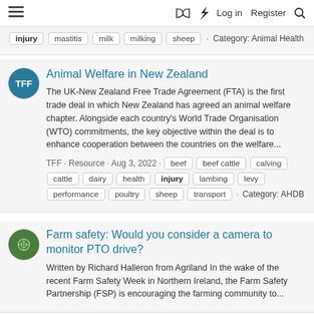≡  🕮  ⚡  Log in  Register  🔍
Tags: injury, mastitis, milk, milking, sheep · Category: Animal Health
Animal Welfare in New Zealand
The UK-New Zealand Free Trade Agreement (FTA) is the first trade deal in which New Zealand has agreed an animal welfare chapter. Alongside each country's World Trade Organisation (WTO) commitments, the key objective within the deal is to enhance cooperation between the countries on the welfare...
TFF · Resource · Aug 3, 2022 · beef, beef cattle, calving, cattle, dairy, health, injury, lambing, levy, performance, poultry, sheep, transport · Category: AHDB
Farm safety: Would you consider a camera to monitor PTO drive?
Written by Richard Halleron from Agriland In the wake of the recent Farm Safety Week in Northern Ireland, the Farm Safety Partnership (FSP) is encouraging the farming community to...